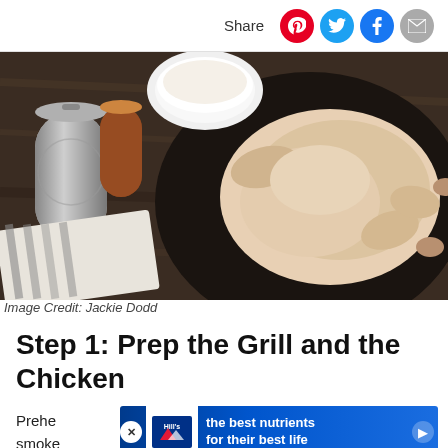Share
[Figure (photo): Overhead view of a raw whole chicken on a dark plate, with a can of beer, a bowl of cream/milk, and a striped kitchen towel on a dark wood surface.]
Image Credit: Jackie Dodd
Step 1: Prep the Grill and the Chicken
Prehe smoke ried
[Figure (infographic): Advertisement banner: Hill's pet food ad reading 'the best nutrients for their best life']